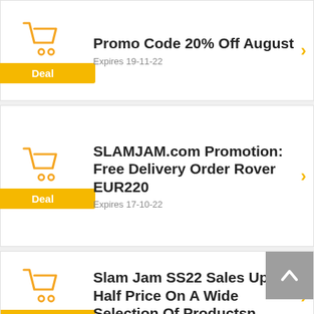[Figure (illustration): Shopping cart icon in orange with Deal button below]
Promo Code 20% Off August
Expires 19-11-22
[Figure (illustration): Shopping cart icon in orange with Deal button below]
SLAMJAM.com Promotion: Free Delivery Order Rover EUR220
Expires 17-10-22
[Figure (illustration): Shopping cart icon in orange with Deal button below]
Slam Jam SS22 Sales Up To Half Price On A Wide Selection Of Productsn